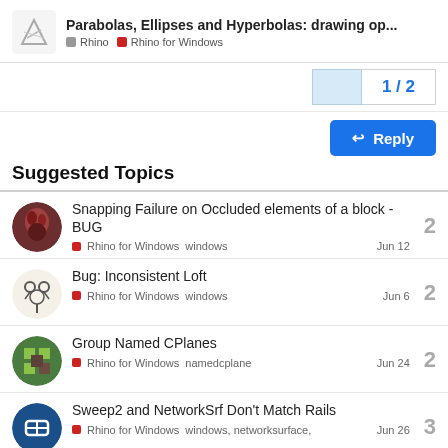Parabolas, Ellipses and Hyperbolas: drawing op... — Rhino | Rhino for Windows
1 / 2
↩ Reply
Suggested Topics
Snapping Failure on Occluded elements of a block - BUG
Rhino for Windows  windows  Jun 12
2
Bug: Inconsistent Loft
Rhino for Windows  windows  Jun 6
2
Group Named CPlanes
Rhino for Windows  namedcplane  Jun 24
2
Sweep2 and NetworkSrf Don't Match Rails
Rhino for Windows  windows, networksurface,  Jun 26
3